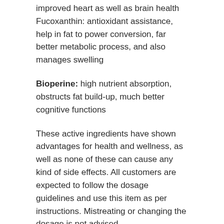improved heart as well as brain health Fucoxanthin: antioxidant assistance, help in fat to power conversion, far better metabolic process, and also manages swelling
Bioperine: high nutrient absorption, obstructs fat build-up, much better cognitive functions
These active ingredients have shown advantages for health and wellness, as well as none of these can cause any kind of side effects. All customers are expected to follow the dosage guidelines and use this item as per instructions. Mistreating or changing the dosage is not advised.
Also Read: The Full Report On Lean Belly